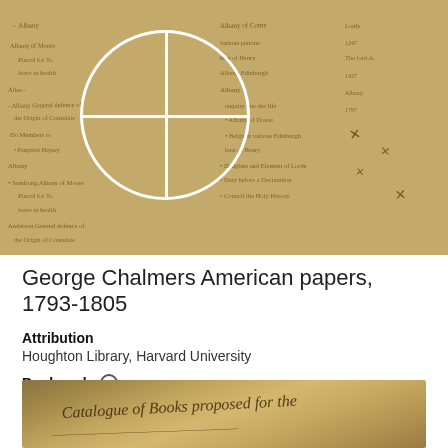[Figure (photo): Photograph of aged handwritten manuscript pages with cursive script, overlaid with a white crosshair circle targeting reticle in the upper left area of the image.]
George Chalmers American papers, 1793-1805
Attribution
Houghton Library, Harvard University
Bookmark  ○
[Figure (photo): Partial view of a handwritten manuscript page with cursive text, appearing to read 'Catalogue of Books proposed for the'.]